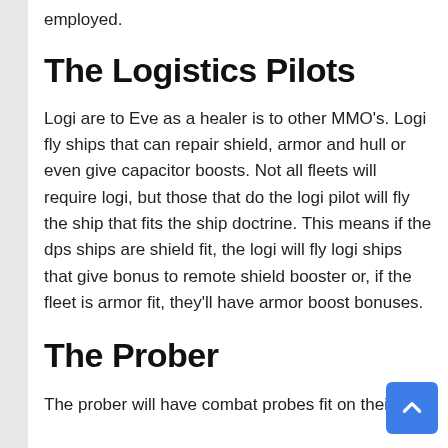employed.
The Logistics Pilots
Logi are to Eve as a healer is to other MMO's. Logi fly ships that can repair shield, armor and hull or even give capacitor boosts. Not all fleets will require logi, but those that do the logi pilot will fly the ship that fits the ship doctrine. This means if the dps ships are shield fit, the logi will fly logi ships that give bonus to remote shield booster or, if the fleet is armor fit, they'll have armor boost bonuses.
The Prober
The prober will have combat probes fit on their